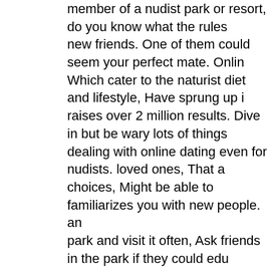member of a nudist park or resort, do you know what the rules new friends. One of them could seem your perfect mate. Onlin Which cater to the naturist diet and lifestyle, Have sprung up i raises over 2 million results. Dive in but be wary lots of things dealing with online dating even for nudists. loved ones, That a choices, Might be able to familiarizes you with new people. an park and visit it often, Ask friends in the park if they could edu nudists. They may be your gold ticket to meeting the person yo nudist proceedings. Most nudist parks and resorts have fun soc long even during the winter; Sign up for their mailing list and a possibly can find couples that have met, outdated, And married discovered social nudism by accident. remember, there are you bringing up their children in this wholesome lifestyle. Yet both thing they are happily living life in the nude with the one they nudist dating pool you can t find the woman of your dreams if Seducing a WomanBest 5 Dating Tips For MenAre you strugg you?How To Talk with Women 5 Ways To Flirt With HumorTe maintain Your Objective In Mind!Eye Contact Of Women Fou InterestedThe 4 Reasons Women Like Jerks RevealedOnline D YouGain Confidence With WomenHow to Talk to WomenLoo Activities of seniorTake place Polish Women Take care of The About Three Reliable Tactics When Courting Ladies Via The I For MenTips to Prepare for Date NightWhat Do Women Reall guidelines to help you Understand Women BetterOnline Datin People Avoid ItBreaking Up Is Hard To Do Is Not Just A Song Un at to det la red ati on a len and lar di al on the